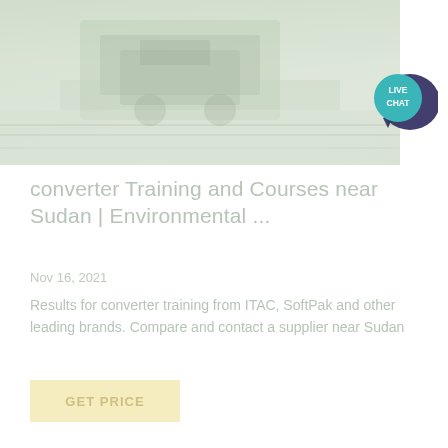[Figure (photo): Faded/washed out photo of machinery or industrial equipment, possibly a bulldozer or agricultural machine, with a live chat bubble overlay in the top right corner]
converter Training and Courses near Sudan | Environmental ...
Nov 16, 2021
Results for converter training from ITAC, SoftPak and other leading brands. Compare and contact a supplier near Sudan
GET PRICE